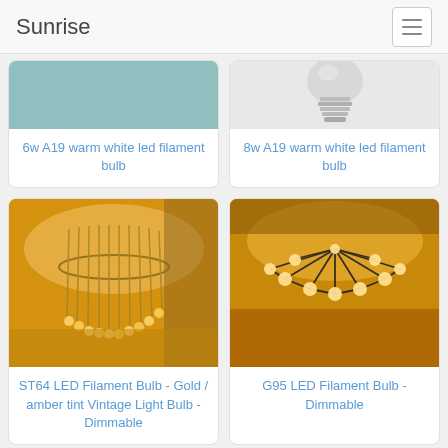Sunrise
[Figure (photo): Cropped top portion of a teal/turquoise product image for 6w A19 warm white led filament bulb]
6w A19 warm white led filament bulb
[Figure (photo): Cropped top portion showing a light bulb screw base (E27 base) on white background for 8w A19 warm white led filament bulb]
8w A19 warm white led filament bulb
[Figure (photo): Warm amber/golden chandelier with spiral pendant lights in a hotel lobby - ST64 LED Filament Bulb]
ST64 LED Filament Bulb - Gold / amber tint Vintage Light Bulb - Dimmable
[Figure (photo): Industrial style spider chandelier with multiple globe bulbs against wooden ceiling - G95 LED Filament Bulb]
G95 LED Filament Bulb - Dimmable